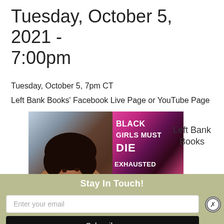Tuesday, October 5, 2021 - 7:00pm
Tuesday, October 5, 7pm CT
Left Bank Books' Facebook Live Page or YouTube Page
[Figure (photo): Composite image: left half shows a smiling Black woman with curly hair; right half shows the book cover 'Black Girls Must Die Exhausted' with colorful tropical foliage design on a pink/magenta background.]
Left Bank Books
Stay In Touch!
Enter your email
Subscribe